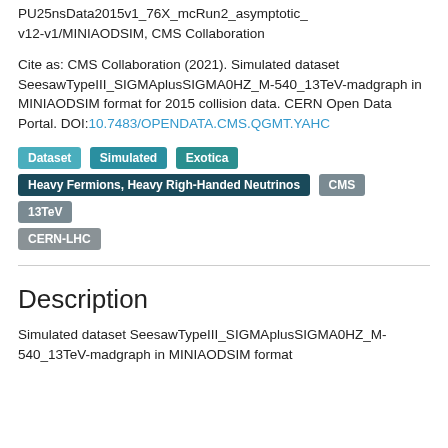PU25nsData2015v1_76X_mcRun2_asymptotic_v12-v1/MINIAODSIM, CMS Collaboration
Cite as: CMS Collaboration (2021). Simulated dataset SeesawTypeIII_SIGMAplusSIGMA0HZ_M-540_13TeV-madgraph in MINIAODSIM format for 2015 collision data. CERN Open Data Portal. DOI:10.7483/OPENDATA.CMS.QGMT.YAHC
Dataset
Simulated
Exotica
Heavy Fermions, Heavy Righ-Handed Neutrinos
CMS
13TeV
CERN-LHC
Description
Simulated dataset SeesawTypeIII_SIGMAplusSIGMA0HZ_M-540_13TeV-madgraph in MINIAODSIM format